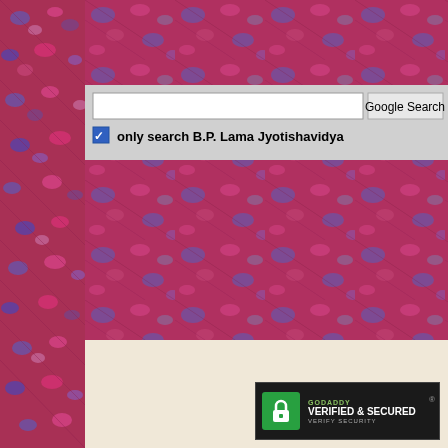[Figure (screenshot): Google search box with text input field and 'Google Search' button, with a checkbox labeled 'only search B.P. Lama Jyotishavidya' checked, overlaid on a decorative pink/purple ikat fabric pattern background. Bottom section shows a beige/cream area with a GoDaddy Verified & Secured badge.]
only search B.P. Lama Jyotishavidya
[Figure (logo): GoDaddy Verified & Secured badge with green lock icon on dark background]